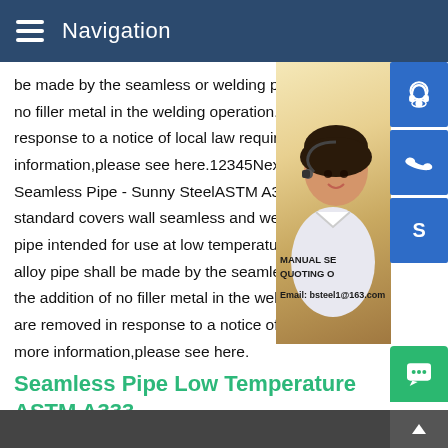Navigation
be made by the seamless or welding process no filler metal in the welding operation. Some response to a notice of local law requirements information,please see here.12345NextASTM A333 Seamless Pipe - Sunny SteelASTM A333 standard covers wall seamless and welded pipe intended for use at low temperatures. alloy pipe shall be made by the seamless the addition of no filler metal in the welding are removed in response to a notice of local more information,please see here.
[Figure (photo): Customer service representative woman wearing headset, with blue icon buttons for customer service, phone, and Skype on the right side. Text overlay: MANUAL SERVICE, QUOTING ONLINE, Email: bsteel1@163.com]
Seamless Pipe Low Temperature ASTM A333 ASME SA333 Bri-Steel
About Bri-Steel.Bri-Steel Manufacturing is a state of the art factory that produces Large Diameter Seamless Steel Pipe in Canada